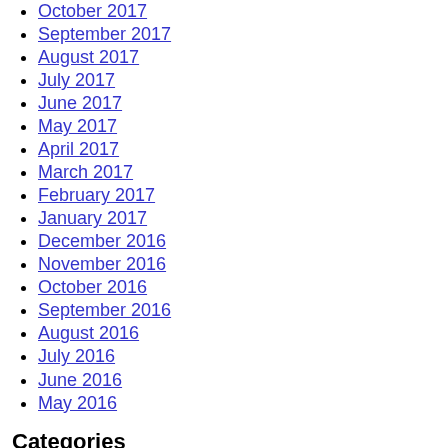October 2017
September 2017
August 2017
July 2017
June 2017
May 2017
April 2017
March 2017
February 2017
January 2017
December 2016
November 2016
October 2016
September 2016
August 2016
July 2016
June 2016
May 2016
Categories
13th
17×22
1960s
1967-original
1970's-80's
1970s
1980s